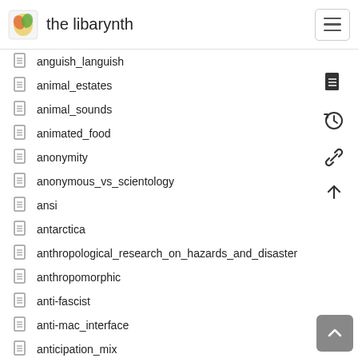the libarynth
anguish_languish
animal_estates
animal_sounds
animated_food
anonymity
anonymous_vs_scientology
ansi
antarctica
anthropological_research_on_hazards_and_disasters
anthropomorphic
anti-fascist
anti-mac_interface
anticipation_mix
anticipatory_systems
antikythera_mechanism
antipodes
antiword